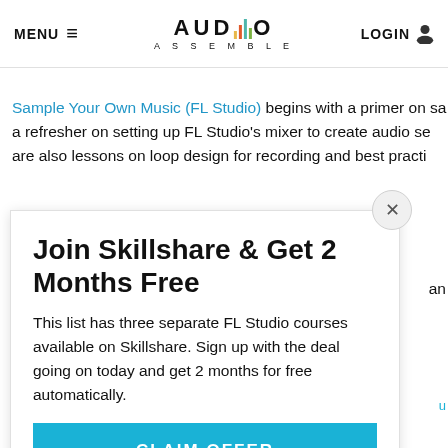MENU  |  AUDIO ASSEMBLE  |  LOGIN
Sample Your Own Music (FL Studio) begins with a primer on sa a refresher on setting up FL Studio's mixer to create audio ser are also lessons on loop design for recording and best practic
You should have an interest in creating sampled beats b
Join Skillshare & Get 2 Months Free
This list has three separate FL Studio courses available on Skillshare. Sign up with the deal going on today and get 2 months for free automatically.
CLAIM OFFER
Weller